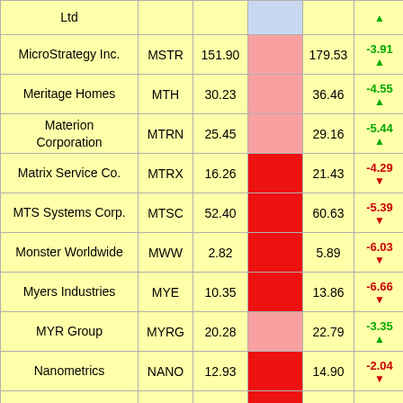| Company | Ticker | Price | Bar | Target | Change | Extra |
| --- | --- | --- | --- | --- | --- | --- |
| Ltd |  |  |  |  | ▲ |  |
| MicroStrategy Inc. | MSTR | 151.90 |  | 179.53 | -3.91 ▲ | 1 |
| Meritage Homes | MTH | 30.23 |  | 36.46 | -4.55 ▲ | 2 |
| Materion Corporation | MTRN | 25.45 |  | 29.16 | -5.44 ▲ | 3 |
| Matrix Service Co. | MTRX | 16.26 |  | 21.43 | -4.29 ▼ |  |
| MTS Systems Corp. | MTSC | 52.40 |  | 60.63 | -5.39 ▼ | 1 |
| Monster Worldwide | MWW | 2.82 |  | 5.89 | -6.03 ▼ | 1 |
| Myers Industries | MYE | 10.35 |  | 13.86 | -6.66 ▼ |  |
| MYR Group | MYRG | 20.28 |  | 22.79 | -3.35 ▲ | 2 |
| Nanometrics | NANO | 12.93 |  | 14.90 | -2.04 ▼ |  |
|  |  |  |  |  | -0.28 |  |